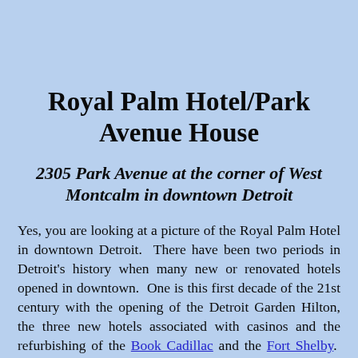Royal Palm Hotel/Park Avenue House
2305 Park Avenue at the corner of West Montcalm in downtown Detroit
Yes, you are looking at a picture of the Royal Palm Hotel in downtown Detroit. There have been two periods in Detroit's history when many new or renovated hotels opened in downtown. One is this first decade of the 21st century with the opening of the Detroit Garden Hilton, the three new hotels associated with casinos and the refurbishing of the Book Cadillac and the Fort Shelby. The 1920s was the other decade of great hotel building. Detroit